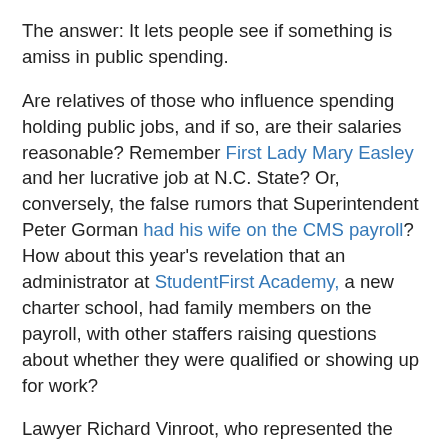The answer:  It lets people see if something is amiss in public spending.
Are relatives of those who influence spending holding public jobs,  and if so,  are their salaries reasonable?  Remember First Lady Mary Easley and her lucrative job at N.C. State?  Or, conversely,  the false rumors that Superintendent Peter Gorman had his wife on the CMS payroll?  How about this year's revelation that an administrator at StudentFirst Academy,  a new charter school, had family members on the payroll,  with other staffers raising questions about whether they were qualified or showing up for work?
Lawyer Richard Vinroot,  who represented the StudentFirst board when that administrator contested her firing in court,  is now representing Sugar Creek and Lincoln charter schools in fighting the Observer's request to disclose salaries by name.  Lawyers, legislators and maybe judges will sort out the legality of that position.
The schools have provided names and salaries of a few top administrators, along with one contracted for the...